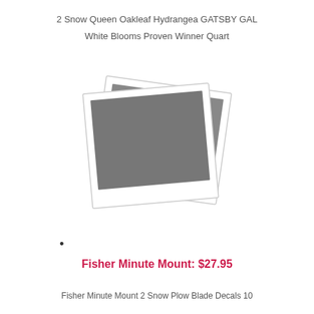2 Snow Queen Oakleaf Hydrangea GATSBY GAL
White Blooms Proven Winner Quart
[Figure (photo): Two overlapping polaroid-style photo placeholders with grey image areas and white borders, slightly rotated]
Fisher Minute Mount: $27.95
Fisher Minute Mount 2 Snow Plow Blade Decals 10